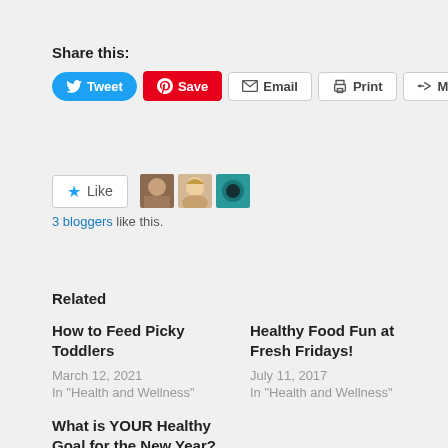Share this:
Tweet | Save | Email | Print | More
Like | 3 bloggers like this.
Related
How to Feed Picky Toddlers
March 12, 2021
In "Health and Wellness"
Healthy Food Fun at Fresh Fridays!
July 11, 2017
In "Health and Wellness"
What is YOUR Healthy Goal for the New Year?
January 2, 2014
In "Health and Wellness"